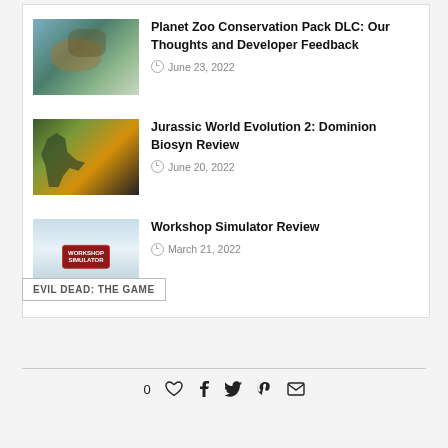Planet Zoo Conservation Pack DLC: Our Thoughts and Developer Feedback
June 23, 2022
Jurassic World Evolution 2: Dominion Biosyn Review
June 20, 2022
Workshop Simulator Review
March 21, 2022
EVIL DEAD: THE GAME
0